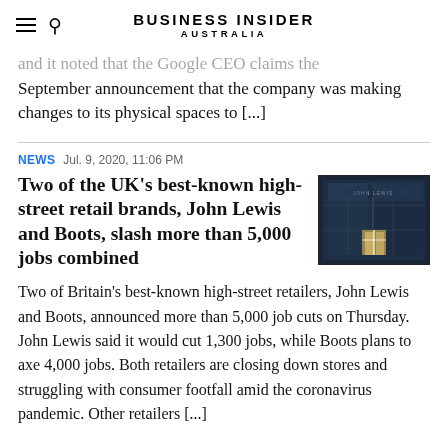BUSINESS INSIDER AUSTRALIA
…and it noted that the Google CEO claims the September announcement that the company was making changes to its physical spaces to […]
NEWS  Jul. 9, 2020, 11:06 PM
Two of the UK's best-known high-street retail brands, John Lewis and Boots, slash more than 5,000 jobs combined
[Figure (photo): Exterior photo of a John Lewis store at night, dark glass facade with illuminated signage]
Two of Britain's best-known high-street retailers, John Lewis and Boots, announced more than 5,000 job cuts on Thursday. John Lewis said it would cut 1,300 jobs, while Boots plans to axe 4,000 jobs. Both retailers are closing down stores and struggling with consumer footfall amid the coronavirus pandemic. Other retailers […]